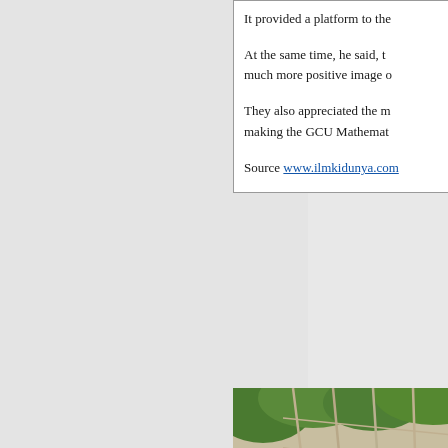It provided a platform to the...

At the same time, he said, t... much more positive image o...

They also appreciated the m... making the GCU Mathemat...

Source www.ilmkidunya.com
[Figure (photo): Outdoor garden or campus area with green plants, stone walls, and paved pathway in bright sunlight]